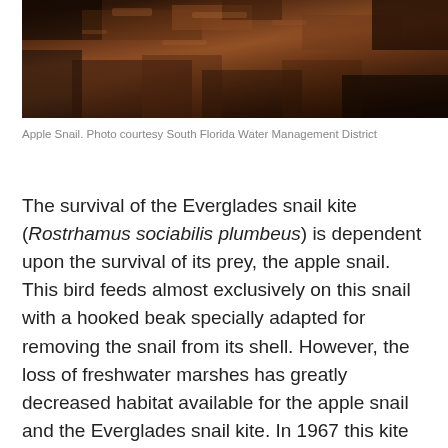[Figure (photo): Close-up photograph of an Apple Snail on a dark, textured surface with warm brown tones]
Apple Snail. Photo courtesy South Florida Water Management District
The survival of the Everglades snail kite (Rostrhamus sociabilis plumbeus) is dependent upon the survival of its prey, the apple snail. This bird feeds almost exclusively on this snail with a hooked beak specially adapted for removing the snail from its shell. However, the loss of freshwater marshes has greatly decreased habitat available for the apple snail and the Everglades snail kite. In 1967 this kite was listed as endangered under the Endangered Species Act with little hope for recovery without restoration of the natural flow of water within the Everglades region. It is one the rarest birds in this country, with only a few